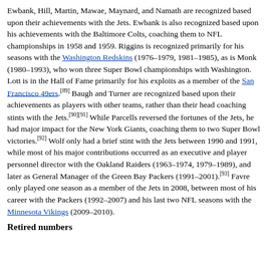Ewbank, Hill, Martin, Mawae, Maynard, and Namath are recognized based upon their achievements with the Jets. Ewbank is also recognized based upon his achievements with the Baltimore Colts, coaching them to NFL championships in 1958 and 1959. Riggins is recognized primarily for his seasons with the Washington Redskins (1976–1979, 1981–1985), as is Monk (1980–1993), who won three Super Bowl championships with Washington. Lott is in the Hall of Fame primarily for his exploits as a member of the San Francisco 49ers.[89] Baugh and Turner are recognized based upon their achievements as players with other teams, rather than their head coaching stints with the Jets.[90][91] While Parcells reversed the fortunes of the Jets, he had major impact for the New York Giants, coaching them to two Super Bowl victories.[92] Wolf only had a brief stint with the Jets between 1990 and 1991, while most of his major contributions occurred as an executive and player personnel director with the Oakland Raiders (1963–1974, 1979–1989), and later as General Manager of the Green Bay Packers (1991–2001).[93] Favre only played one season as a member of the Jets in 2008, between most of his career with the Packers (1992–2007) and his last two NFL seasons with the Minnesota Vikings (2009–2010).
Retired numbers